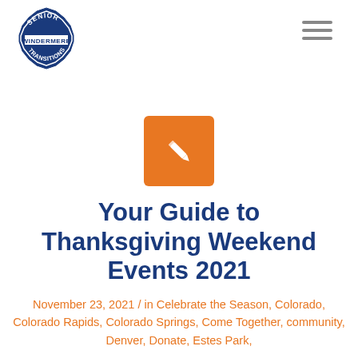[Figure (logo): Senior Windermere Transitions circular badge logo in dark blue and white]
[Figure (illustration): Orange square icon with a white pencil/edit symbol in the center]
Your Guide to Thanksgiving Weekend Events 2021
November 23, 2021 / in Celebrate the Season, Colorado, Colorado Rapids, Colorado Springs, Come Together, community, Denver, Donate, Estes Park,